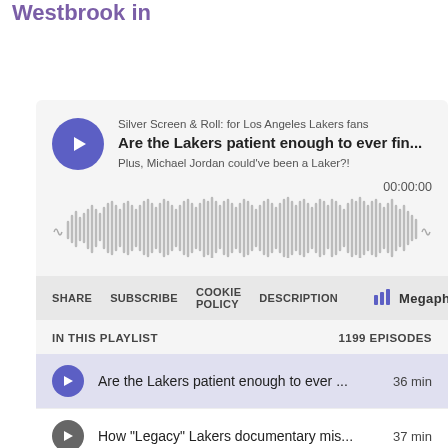Westbrook in
[Figure (screenshot): Podcast player widget for Silver Screen & Roll: for Los Angeles Lakers fans. Shows play button, episode title 'Are the Lakers patient enough to ever fin...', subtitle 'Plus, Michael Jordan could've been a Laker?!', timer 00:00:00, audio waveform, toolbar with SHARE SUBSCRIBE COOKIE POLICY DESCRIPTION and Megaphone logo. Playlist section showing IN THIS PLAYLIST / 1199 EPISODES with episode list rows.]
Are the Lakers patient enough to ever ... 36 min
How "Legacy" Lakers documentary mis...37 min
LeBron James' extension should he... 1 hr 12 min